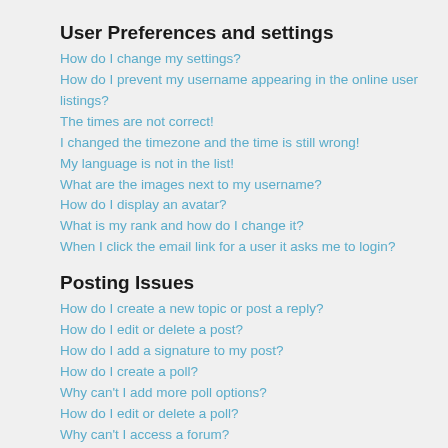User Preferences and settings
How do I change my settings?
How do I prevent my username appearing in the online user listings?
The times are not correct!
I changed the timezone and the time is still wrong!
My language is not in the list!
What are the images next to my username?
How do I display an avatar?
What is my rank and how do I change it?
When I click the email link for a user it asks me to login?
Posting Issues
How do I create a new topic or post a reply?
How do I edit or delete a post?
How do I add a signature to my post?
How do I create a poll?
Why can't I add more poll options?
How do I edit or delete a poll?
Why can't I access a forum?
Why can't I add attachments?